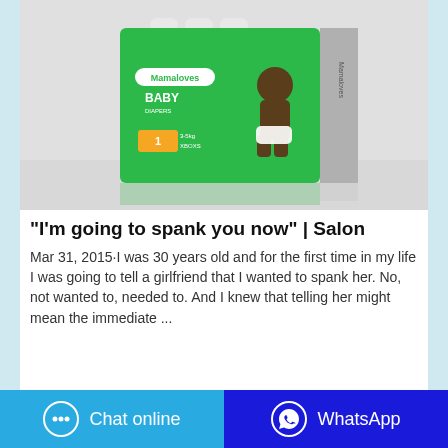[Figure (photo): Product photo of Mamaloves Baby diaper box, green packaging with a baby on the front, on a light gray reflective surface.]
"I'm going to spank you now" | Salon
Mar 31, 2015·I was 30 years old and for the first time in my life I was going to tell a girlfriend that I wanted to spank her. No, not wanted to, needed to. And I knew that telling her might mean the immediate ...
Chat online   WhatsApp